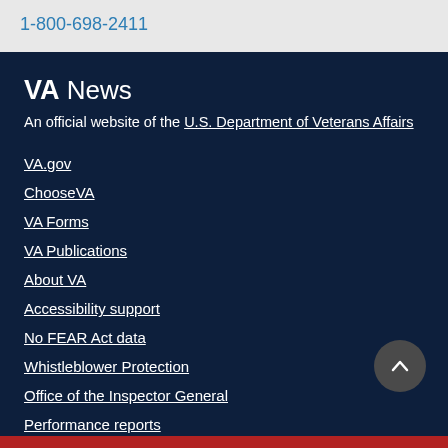1-800-698-2411
VA News
An official website of the U.S. Department of Veterans Affairs
VA.gov
ChooseVA
VA Forms
VA Publications
About VA
Accessibility support
No FEAR Act data
Whistleblower Protection
Office of the Inspector General
Performance reports